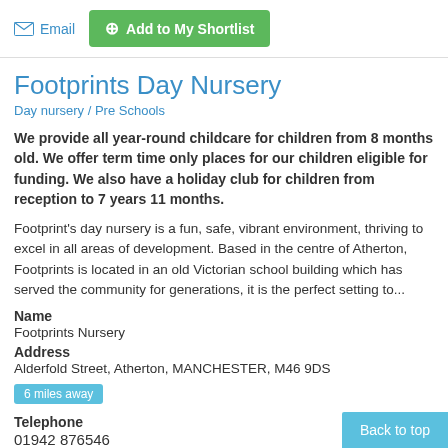Email  Add to My Shortlist
Footprints Day Nursery
Day nursery / Pre Schools
We provide all year-round childcare for children from 8 months old. We offer term time only places for our children eligible for funding. We also have a holiday club for children from reception to 7 years 11 months.
Footprint's day nursery is a fun, safe, vibrant environment, thriving to excel in all areas of development. Based in the centre of Atherton, Footprints is located in an old Victorian school building which has served the community for generations, it is the perfect setting to...
Name
Footprints Nursery
Address
Alderfold Street, Atherton, MANCHESTER, M46 9DS
6 miles away
Telephone
01942 876546